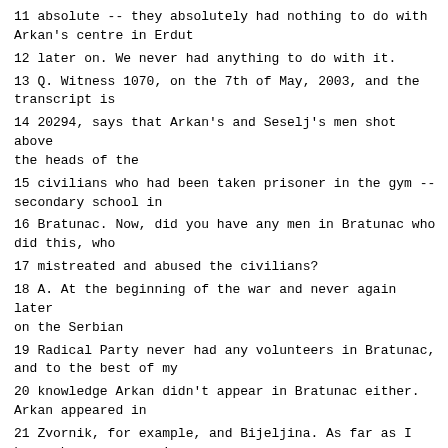11 absolute -- they absolutely had nothing to do with Arkan's centre in Erdut
12 later on. We never had anything to do with it.
13 Q. Witness 1070, on the 7th of May, 2003, and the transcript is
14 20294, says that Arkan's and Seselj's men shot above the heads of the
15 civilians who had been taken prisoner in the gym -- secondary school in
16 Bratunac. Now, did you have any men in Bratunac who did this, who
17 mistreated and abused the civilians?
18 A. At the beginning of the war and never again later on the Serbian
19 Radical Party never had any volunteers in Bratunac, and to the best of my
20 knowledge Arkan didn't appear in Bratunac either. Arkan appeared in
21 Zvornik, for example, and Bijeljina. As far as I know, he was never in